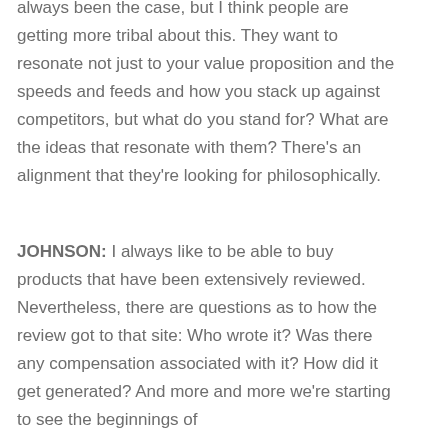always been the case, but I think people are getting more tribal about this. They want to resonate not just to your value proposition and the speeds and feeds and how you stack up against competitors, but what do you stand for? What are the ideas that resonate with them? There's an alignment that they're looking for philosophically.
JOHNSON: I always like to be able to buy products that have been extensively reviewed. Nevertheless, there are questions as to how the review got to that site: Who wrote it? Was there any compensation associated with it? How did it get generated? And more and more we're starting to see the beginnings of